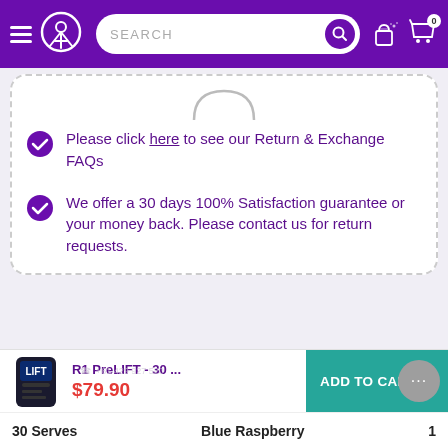Navigation bar with hamburger menu, logo, search bar, gift icon, and cart (0)
Please click here to see our Return & Exchange FAQs
We offer a 30 days 100% Satisfaction guarantee or your money back. Please contact us for return requests.
[Figure (screenshot): Product add-to-cart bar: R1 PreLIFT - 30 ... $79.90 ADD TO CART button]
30 Serves    Blue Raspberry    1